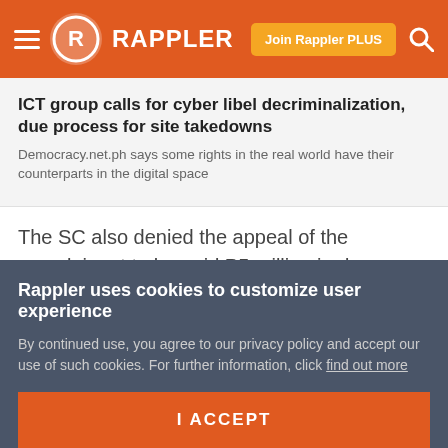Rappler
ICT group calls for cyber libel decriminalization, due process for site takedowns
Democracy.net.ph says some rights in the real world have their counterparts in the digital space
The SC also denied the appeal of the complainant to be paid P5 million in damages.
“His allegation of possibly earning P50,000,000.00 in 10 years is a mere assumption without any foundation. This
Rappler uses cookies to customize user experience
By continued use, you agree to our privacy policy and accept our use of such cookies. For further information, click find out more
I ACCEPT